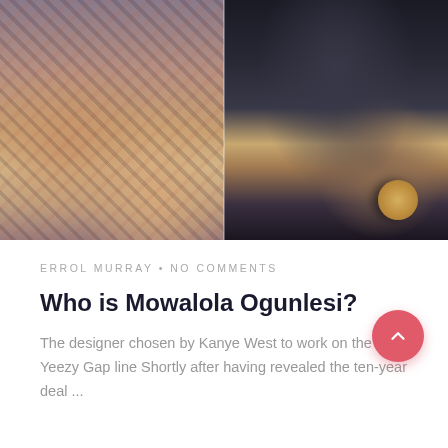[Figure (photo): Two side-by-side photos: left shows a person in a tie-dye outfit with midriff exposed, right shows a person in a black leather jacket with hands clasped.]
ERROL MURRAY • NO COMMENTS
Who is Mowalola Ogunlesi?
The designer chosen by Kanye West to work on the Yeezy Gap line Shortly after having revealed the ten-year deal ...